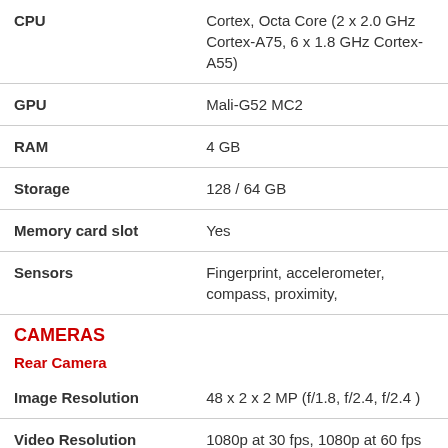| Feature | Details |
| --- | --- |
| CPU | Cortex, Octa Core (2 x 2.0 GHz Cortex-A75, 6 x 1.8 GHz Cortex-A55) |
| GPU | Mali-G52 MC2 |
| RAM | 4 GB |
| Storage | 128 / 64 GB |
| Memory card slot | Yes |
| Sensors | Fingerprint, accelerometer, compass, proximity, |
CAMERAS
Rear Camera
| Feature | Details |
| --- | --- |
| Image Resolution | 48 x 2 x 2 MP (f/1.8, f/2.4, f/2.4 ) |
| Video Resolution | 1080p at 30 fps, 1080p at 60 fps |
| Features | AI Triple Camera, HDR, LED flash, panorama, PDAF, Wide Angle, Macro Camera, Depth |